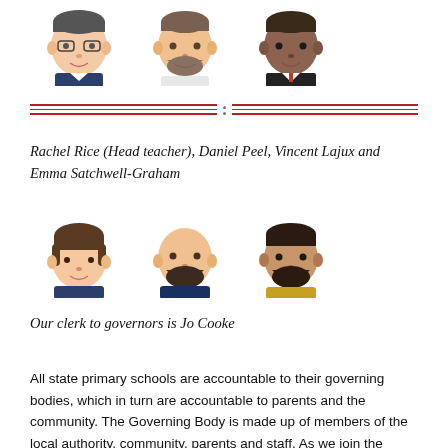[Figure (illustration): Three cartoon avatar faces in a row: a person with glasses and dark hair, a person with a beard, and a dark-skinned person in a suit]
[Figure (illustration): Decorative double red horizontal rule divider with two small dots in the center gap]
Rachel Rice (Head teacher), Daniel Peel, Vincent Lajux and Emma Satchwell-Graham
[Figure (illustration): Three cartoon avatar faces in a row: a woman with short dark hair, a bald man with a beard, and a man with dark hair and a beard]
Our clerk to governors is Jo Cooke
All state primary schools are accountable to their governing bodies, which in turn are accountable to parents and the community. The Governing Body is made up of members of the local authority, community, parents and staff. As we join the Grand Union Partnership on September 1st 2022, our